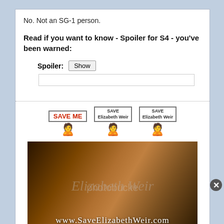No. Not an SG-1 person.
Read if you want to know - Spoiler for S4 - you've been warned:
Spoiler: [Show]
[Figure (illustration): Three pixel-art figures each holding signs reading 'SAVE ME' and 'SAVE Elizabeth Weir'. Below them is a promotional banner image showing two characters with the text 'Elizabeth Weir' and 'www.SaveElizabethWeir.com'.]
Save Elizabeth Weir Website